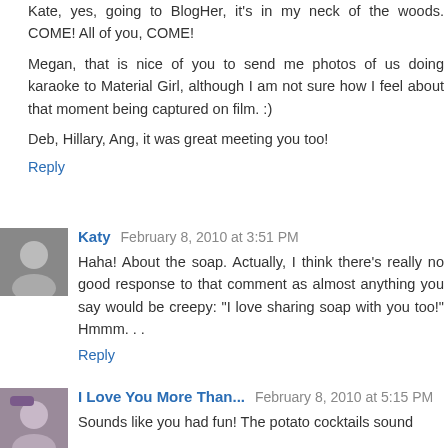Kate, yes, going to BlogHer, it's in my neck of the woods. COME! All of you, COME!
Megan, that is nice of you to send me photos of us doing karaoke to Material Girl, although I am not sure how I feel about that moment being captured on film. :)
Deb, Hillary, Ang, it was great meeting you too!
Reply
Katy  February 8, 2010 at 3:51 PM
Haha! About the soap. Actually, I think there's really no good response to that comment as almost anything you say would be creepy: "I love sharing soap with you too!" Hmmm. . .
Reply
I Love You More Than...  February 8, 2010 at 5:15 PM
Sounds like you had fun! The potato cocktails sound